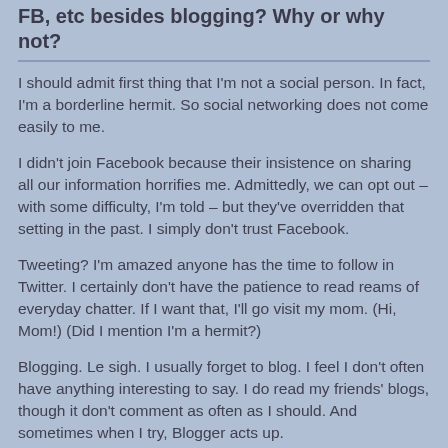FB, etc besides blogging? Why or why not?
I should admit first thing that I'm not a social person. In fact, I'm a borderline hermit. So social networking does not come easily to me.
I didn't join Facebook because their insistence on sharing all our information horrifies me. Admittedly, we can opt out – with some difficulty, I'm told – but they've overridden that setting in the past. I simply don't trust Facebook.
Tweeting? I'm amazed anyone has the time to follow in Twitter. I certainly don't have the patience to read reams of everyday chatter. If I want that, I'll go visit my mom. (Hi, Mom!) (Did I mention I'm a hermit?)
Blogging. Le sigh. I usually forget to blog. I feel I don't often have anything interesting to say. I do read my friends' blogs, though it don't comment as often as I should. And sometimes when I try, Blogger acts up.
More sighs. ;-)
Have you ever…? Do you find the time to Tweet? Do you…